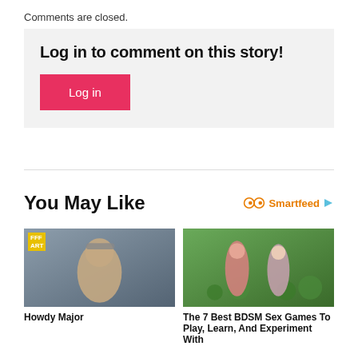Comments are closed.
Log in to comment on this story!
Log in
You May Like
Smartfeed
[Figure (photo): Photo of a 3D rendered female character with hat, semi-nude, with yellow badge overlay reading 'FFF ART']
Howdy Major
[Figure (screenshot): Screenshot of anime-style BDSM game with two female characters in a forest RPG setting]
The 7 Best BDSM Sex Games To Play, Learn, And Experiment With